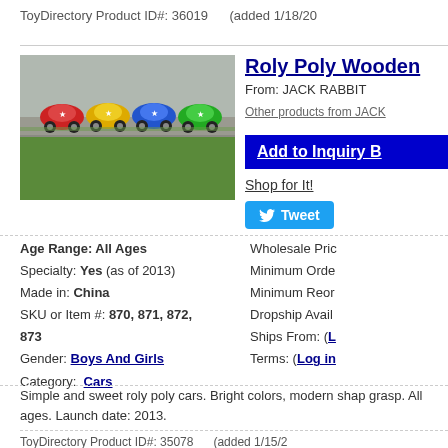ToyDirectory Product ID#: 36019    (added 1/18/20
[Figure (photo): Four colorful wooden roly poly toy cars (red, yellow, blue, green) photographed on a surface with grass in background]
Roly Poly Wooden
From: JACK RABBIT
Other products from JACK
Add to Inquiry B
Shop for It!
Tweet
Age Range: All Ages
Specialty: Yes (as of 2013)
Made in: China
SKU or Item #: 870, 871, 872, 873
Gender: Boys And Girls
Category: Cars
Wholesale Pric
Minimum Orde
Minimum Reor
Dropship Avail
Ships From: (L
Terms: (Log in
Simple and sweet roly poly cars. Bright colors, modern shap grasp. All ages. Launch date: 2013.
ToyDirectory Product ID#: 35078    (added 1/15/2